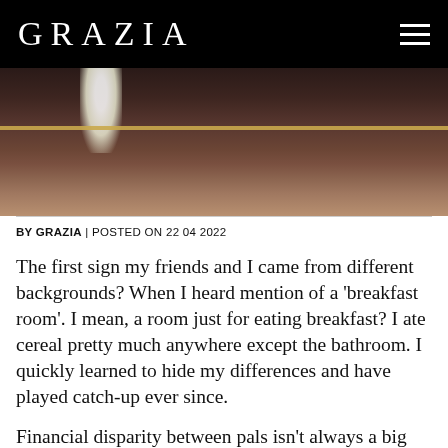GRAZIA
[Figure (photo): Restaurant or bar scene showing people at a counter with gold bar detail and a white lamp on the left side.]
BY GRAZIA | POSTED ON 22 04 2022
The first sign my friends and I came from different backgrounds? When I heard mention of a 'breakfast room'. I mean, a room just for eating breakfast? I ate cereal pretty much anywhere except the bathroom. I quickly learned to hide my differences and have played catch-up ever since.
Financial disparity between pals isn't always a big deal, but if everyone's deep-throating hedonism